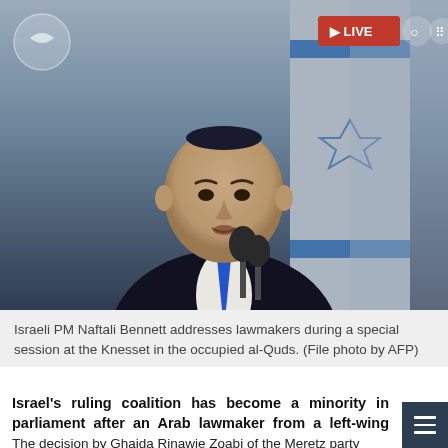[Figure (photo): Israeli PM Naftali Bennett speaking at a podium/microphone at the Knesset, wearing a dark suit and blue tie, with Israeli flags in the background. A LIVE badge appears in the top right corner.]
Israeli PM Naftali Bennett addresses lawmakers during a special session at the Knesset in the occupied al-Quds. (File photo by AFP)
Israel's ruling coalition has become a minority in parliament after an Arab lawmaker from a left-wing party stepped down in protest at ongoing Israeli forces' aggression against Palestinians in al-Quds, and violence at the funeral of slain Palestinian reporter Shireen Abu Akleh.
The decision by Ghaida Rinawie Zoabi of the Meretz party